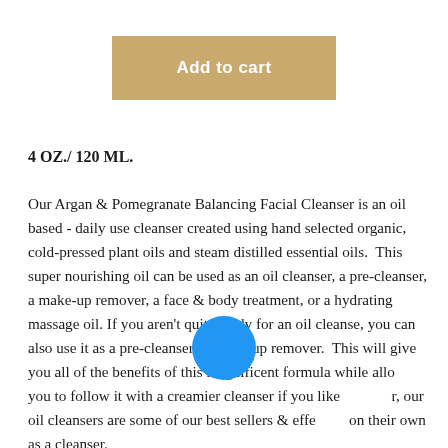Add to cart
4 OZ./ 120 ML.
Our Argan & Pomegranate Balancing Facial Cleanser is an oil based - daily use cleanser created using hand selected organic, cold-pressed plant oils and steam distilled essential oils.  This super nourishing oil can be used as an oil cleanser, a pre-cleanser, a make-up remover, a face & body treatment, or a hydrating massage oil. If you aren't quite ready for an oil cleanse, you can also use it as a pre-cleanser or make-up remover.  This will give you all of the benefits of this magnificent formula while allowing you to follow it with a creamier cleanser if you like. However, our oil cleansers are some of our best sellers & effective on their own as a cleanser.